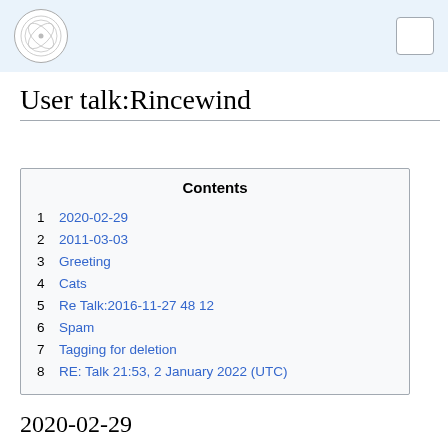User talk:Rincewind — Wikipedia page header with logo
User talk:Rincewind
| # | Section |
| --- | --- |
| 1 | 2020-02-29 |
| 2 | 2011-03-03 |
| 3 | Greeting |
| 4 | Cats |
| 5 | Re Talk:2016-11-27 48 12 |
| 6 | Spam |
| 7 | Tagging for deletion |
| 8 | RE: Talk 21:53, 2 January 2022 (UTC) |
2020-02-29